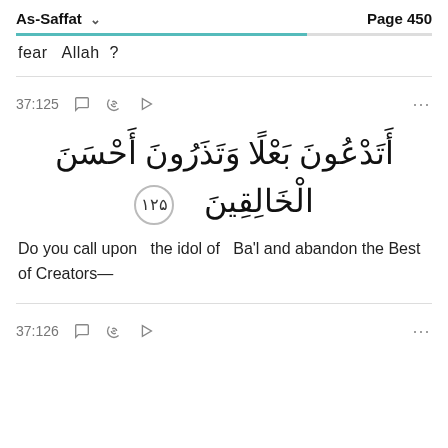As-Saffat   Page 450
fear   Allah  ?
37:125
[Figure (other): Arabic Quran verse 37:125 with verse number badge 125]
Do you call upon   the idol of   Ba'l and abandon the Best of Creators—
37:126